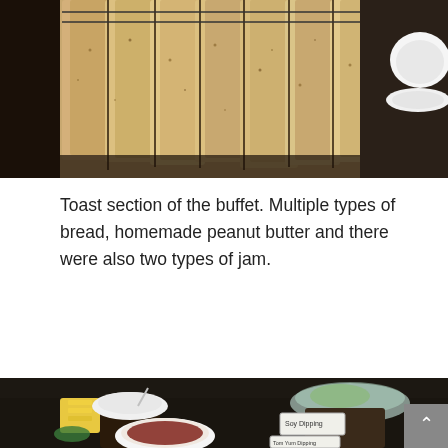[Figure (photo): Toast section of a breakfast buffet showing multiple slices of bread and a white bowl/plate in the upper right corner, on a dark surface.]
Toast section of the buffet. Multiple types of bread, homemade peanut butter and there were also two types of jam.
[Figure (photo): Buffet table with various condiment bowls and dishes including what appears to be soy dipping sauce and tom yum dipping sauce, a bowl of soup with a spoon, corn, a glass bowl with greens, and other items on a dark reflective surface.]